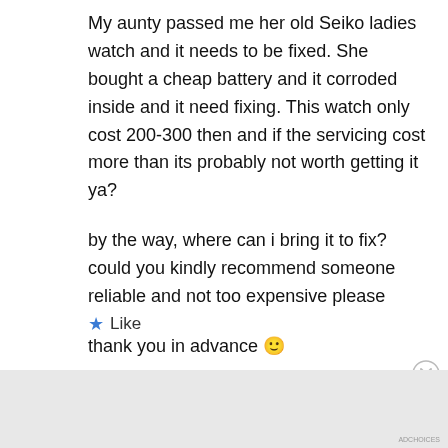My aunty passed me her old Seiko ladies watch and it needs to be fixed. She bought a cheap battery and it corroded inside and it need fixing. This watch only cost 200-300 then and if the servicing cost more than its probably not worth getting it ya?

by the way, where can i bring it to fix? could you kindly recommend someone reliable and not too expensive please

thank you in advance 🙂
[Figure (other): Like button with blue star icon and 'Like' text]
[Figure (other): Close/dismiss button (circled X)]
Advertisements
[Figure (other): DuckDuckGo advertisement banner: 'Search, browse, and email with more privacy. All in One Free App' on orange background with DuckDuckGo logo on dark background]
ADCHOICES